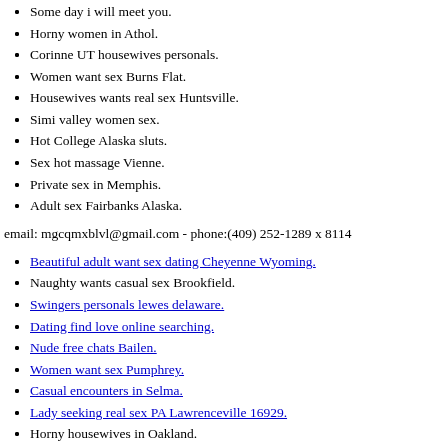Some day i will meet you.
Horny women in Athol.
Corinne UT housewives personals.
Women want sex Burns Flat.
Housewives wants real sex Huntsville.
Simi valley women sex.
Hot College Alaska sluts.
Sex hot massage Vienne.
Private sex in Memphis.
Adult sex Fairbanks Alaska.
email: mgcqmxblvl@gmail.com - phone:(409) 252-1289 x 8114
Beautiful adult want sex dating Cheyenne Wyoming.
Naughty wants casual sex Brookfield.
Swingers personals lewes delaware.
Dating find love online searching.
Nude free chats Bailen.
Women want sex Pumphrey.
Casual encounters in Selma.
Lady seeking real sex PA Lawrenceville 16929.
Horny housewives in Oakland.
Mwm looking for older wf freind.
Swingers new port richey.
Ts personals near Philadelphia Pennsylvania.